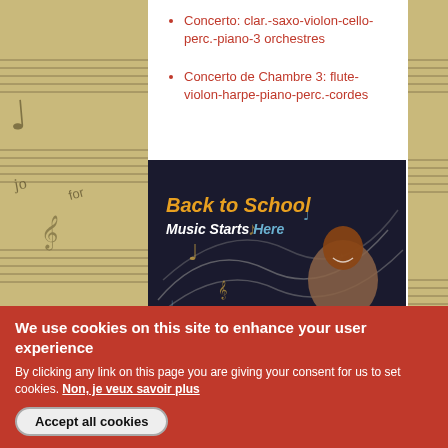Concerto: clar.-saxo-violon-cello-perc.-piano-3 orchestres
Concerto de Chambre 3: flute-violon-harpe-piano-perc.-cordes
[Figure (photo): Back to School Music Starts Here promotional image with a smiling child and colorful music notes on a dark background]
We use cookies on this site to enhance your user experience
By clicking any link on this page you are giving your consent for us to set cookies. Non, je veux savoir plus
Accept all cookies